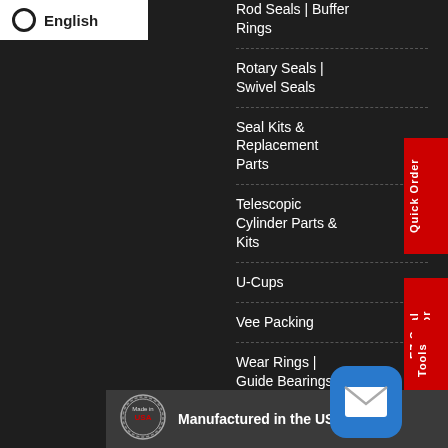English
Rod Seals | Buffer Rings
Rotary Seals | Swivel Seals
Seal Kits & Replacement Parts
Telescopic Cylinder Parts & Kits
U-Cups
Vee Packing
Wear Rings | Guide Bearings
Wipers
Quick Order
EZ Seal Selector
Tools
Manufactured in the USA